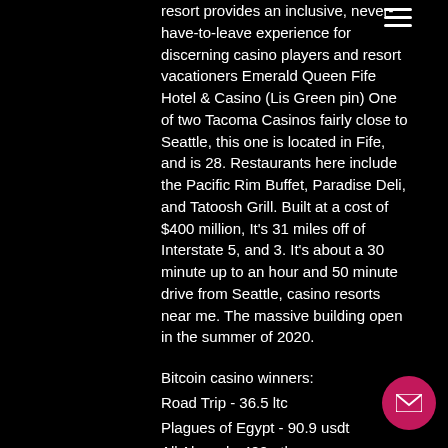resort provides an inclusive, never-have-to-leave experience for discerning casino players and resort vacationers Emerald Queen Fife Hotel & Casino (Lis Green pin) One of two Tacoma Casinos fairly close to Seattle, this one is located in Fife, and is 28. Restaurants here include the Pacific Rim Buffet, Paradise Deli, and Tatoosh Grill. Built at a cost of $400 million, It's 31 miles off of Interstate 5, and 3. It's about a 30 minute up to an hour and 50 minute drive from Seattle, casino resorts near me. The massive building open in the summer of 2020.
Bitcoin casino winners:
Road Trip - 36.5 ltc
Plagues of Egypt - 90.9 usdt
All Aboard - 402 eth
Panda King - 295.3 eth
Alice in Wonderland - 203.6 eth
Ocean Princess - 683.6 ltc